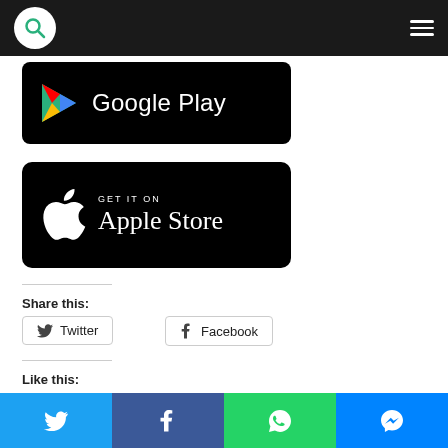[Figure (screenshot): Website navigation bar with white search circle icon (green magnifying glass) on left and hamburger menu on right, dark background]
[Figure (logo): Google Play store badge - black background with colorful play button triangle and 'Google Play' text in white]
[Figure (logo): Apple Store badge - black background with Apple logo and 'GET IT ON Apple Store' text in white]
Share this:
[Figure (screenshot): Twitter share button with bird icon]
[Figure (screenshot): Facebook share button with Facebook 'f' icon]
Like this:
[Figure (screenshot): Bottom social sharing bar with Twitter (blue), Facebook (dark blue), WhatsApp (green), and Messenger (blue) buttons]